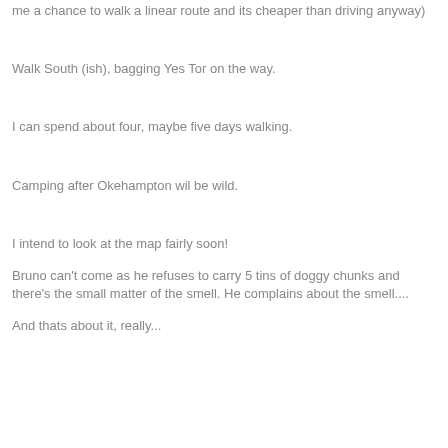me a chance to walk a linear route and its cheaper than driving anyway)
Walk South (ish), bagging Yes Tor on the way.
I can spend about four, maybe five days walking.
Camping after Okehampton wil be wild.
I intend to look at the map fairly soon!
Bruno can't come as he refuses to carry 5 tins of doggy chunks and there's the small matter of the smell. He complains about the smell....
And thats about it, really...